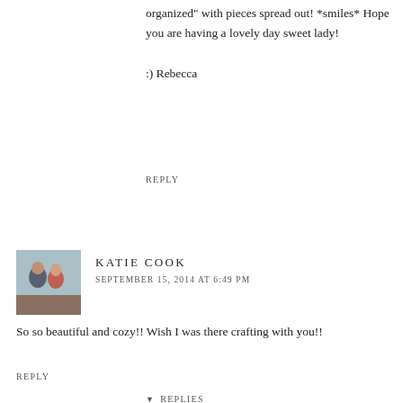organized" with pieces spread out! *smiles* Hope you are having a lovely day sweet lady!
:) Rebecca
REPLY
[Figure (photo): Avatar photo of Katie Cook, a couple (man and woman) outdoors]
KATIE COOK
SEPTEMBER 15, 2014 AT 6:49 PM
So so beautiful and cozy!! Wish I was there crafting with you!!
REPLY
REPLIES
[Figure (photo): Avatar photo of Caravan Sonnet, woman smiling]
CARAVAN SONNET
SEPTEMBER 16, 2014 AT 2:11 PM
Aww thanks lady for your comment! It is definitely a cozy room! Come stop by anytime!! I